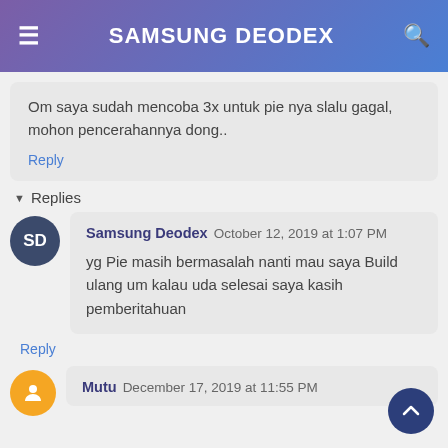SAMSUNG DEODEX
Om saya sudah mencoba 3x untuk pie nya slalu gagal, mohon pencerahannya dong..
Reply
Replies
Samsung Deodex  October 12, 2019 at 1:07 PM
yg Pie masih bermasalah nanti mau saya Build ulang um kalau uda selesai saya kasih pemberitahuan
Reply
Mutu  December 17, 2019 at 11:55 PM